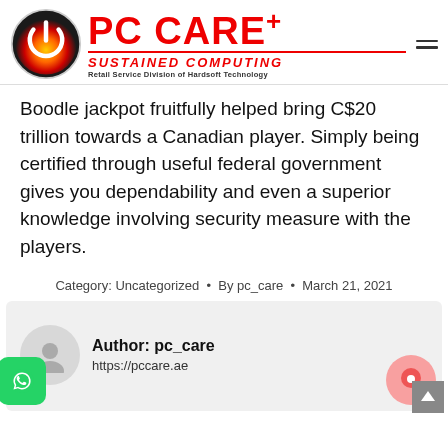[Figure (logo): PC CARE+ logo with power button icon and text 'SUSTAINED COMPUTING / Retail Service Division of Hardsoft Technology']
Boodle jackpot fruitfully helped bring C$20 trillion towards a Canadian player. Simply being certified through useful federal government gives you dependability and even a superior knowledge involving security measure with the players.
Category: Uncategorized • By pc_care • March 21, 2021
Author: pc_care
https://pccare.ae